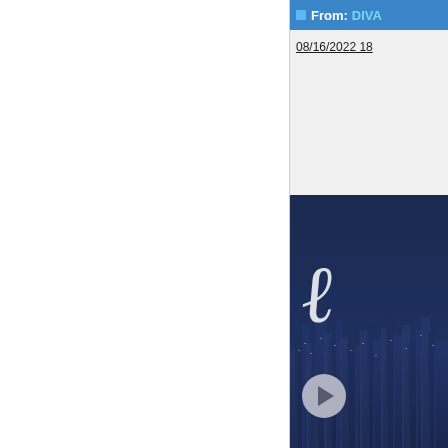From: DIVA
08/16/2022 18
[Figure (illustration): Dark navy blue promotional image with cursive script letter visible at top and a city skyline silhouette in the background. A circular play button is visible near the bottom left of the image.]